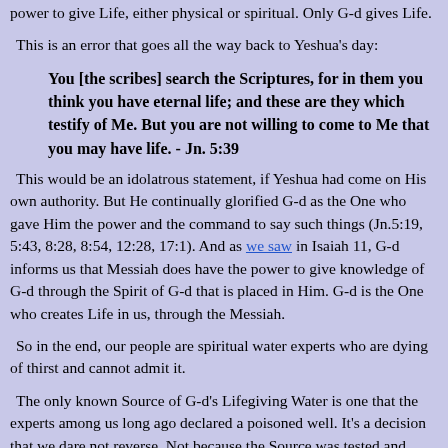power to give Life, either physical or spiritual.  Only G-d gives Life.
This is an error that goes all the way back to Yeshua's day:
You [the scribes] search the Scriptures, for in them you think you have eternal life; and these are they which testify of Me.  But you are not willing to come to Me that you may have life. - Jn. 5:39
This would be an idolatrous statement, if Yeshua had come on His own authority.  But He continually glorified G-d as the One who gave Him the power and the command to say such things (Jn.5:19, 5:43, 8:28, 8:54, 12:28, 17:1).  And as we saw in Isaiah 11, G-d informs us that Messiah does have the power to give knowledge of G-d through the Spirit of G-d that is placed in Him.  G-d is the One who creates Life in us, through the Messiah.
So in the end, our people are spiritual water experts who are dying of thirst and cannot admit it.
The only known Source of G-d's Lifegiving Water is one that the experts among us long ago declared a poisoned well.  It's a decision that we dare not reverse.  Not because the Source was tested and proven to be polluted, but because we would have to admit that our colleagues of old, for all their research on Water, could not recognize good Water when they saw it (and